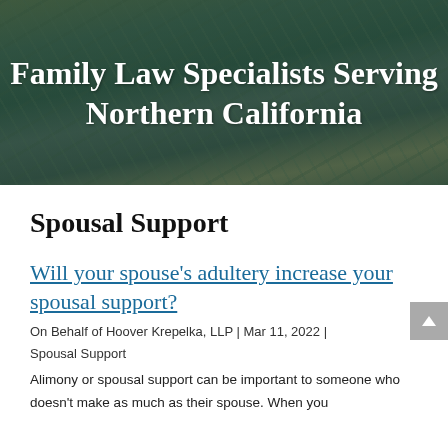[Figure (photo): Aerial city view background image with text overlay reading 'Family Law Specialists Serving Northern California']
Family Law Specialists Serving Northern California
Spousal Support
Will your spouse's adultery increase your spousal support?
On Behalf of Hoover Krepelka, LLP | Mar 11, 2022 | Spousal Support
Alimony or spousal support can be important to someone who doesn't make as much as their spouse. When you